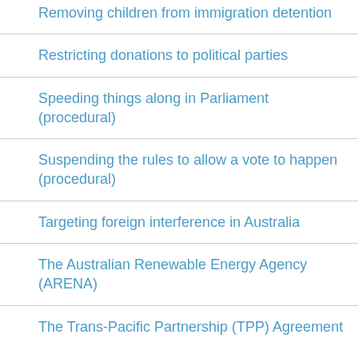Removing children from immigration detention
Restricting donations to political parties
Speeding things along in Parliament (procedural)
Suspending the rules to allow a vote to happen (procedural)
Targeting foreign interference in Australia
The Australian Renewable Energy Agency (ARENA)
The Trans-Pacific Partnership (TPP) Agreement